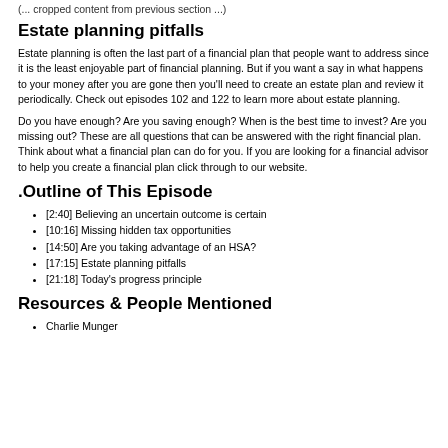(... some cropped text at top ...)
Estate planning pitfalls
Estate planning is often the last part of a financial plan that people want to address since it is the least enjoyable part of financial planning. But if you want a say in what happens to your money after you are gone then you'll need to create an estate plan and review it periodically. Check out episodes 102 and 122 to learn more about estate planning.
Do you have enough? Are you saving enough? When is the best time to invest? Are you missing out? These are all questions that can be answered with the right financial plan. Think about what a financial plan can do for you. If you are looking for a financial advisor to help you create a financial plan click through to our website.
.Outline of This Episode
[2:40] Believing an uncertain outcome is certain
[10:16] Missing hidden tax opportunities
[14:50] Are you taking advantage of an HSA?
[17:15] Estate planning pitfalls
[21:18] Today's progress principle
Resources & People Mentioned
Charlie Munger